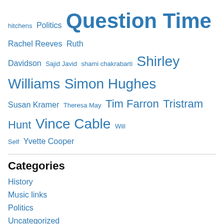hitchens Politics Question Time Rachel Reeves Ruth Davidson Sajid Javid shami chakrabarti Shirley Williams Simon Hughes Susan Kramer Theresa May Tim Farron Tristram Hunt Vince Cable Will Self Yvette Cooper
Categories
History
Music links
Politics
Uncategorized
Privacy & Cookies: This site uses cookies. By continuing to use this website, you agree to their use. To find out more, including how to control cookies, see here: Cookie Policy
Close and accept